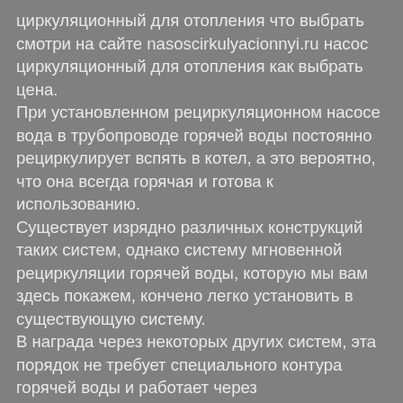циркуляционный для отопления что выбрать смотри на сайте nasoscirkulyacionnyi.ru насос циркуляционный для отопления как выбрать цена. При установленном рециркуляционном насосе вода в трубопроводе горячей воды постоянно рециркулирует вспять в котел, а это вероятно, что она всегда горячая и готова к использованию. Существует изрядно различных конструкций таких систем, однако систему мгновенной рециркуляции горячей воды, которую мы вам здесь покажем, кончено легко установить в существующую систему. В награда через некоторых других систем, эта порядок не требует специального контура горячей воды и работает через циркуляционный насос, установленный на котле, и обратный клапан, обыкновенный